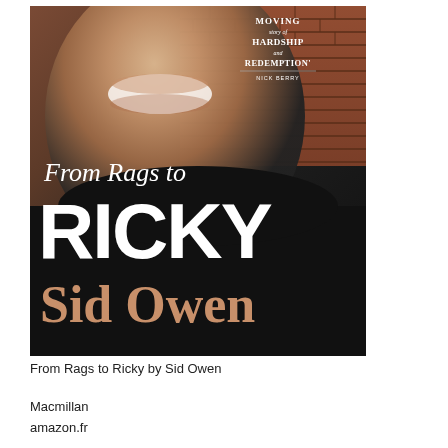[Figure (photo): Book cover of 'From Rags to Ricky' by Sid Owen. Shows a young man smiling broadly, wearing a black t-shirt, against a brick wall background. Top right has a quote about 'moving story of hardship and redemption' by Nick Berry. The title 'From Rags to RICKY' is in white serif/bold text, and 'Sid Owen' is in large copper/bronze serif text at the bottom.]
From Rags to Ricky by Sid Owen
Macmillan
amazon.fr